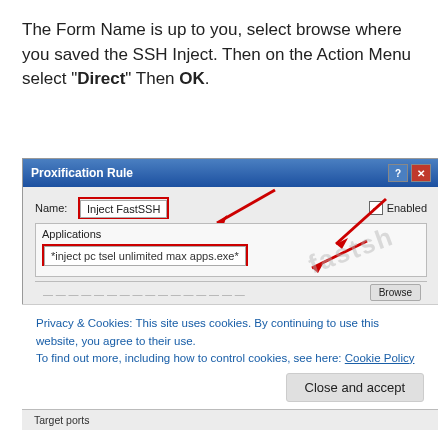The Form Name is up to you, select browse where you saved the SSH Inject. Then on the Action Menu select “Direct” Then OK.
[Figure (screenshot): Screenshot of a Proxification Rule dialog box showing Name field filled with 'Inject FastSSH' (highlighted with red border and arrow), Applications section with '*inject pc tsel unlimited max apps.exe*' (highlighted with red border and arrows), Enabled checkbox checked. A cookie consent banner overlays the bottom of the dialog with text about Privacy & Cookies and a 'Close and accept' button. A watermark 'fastsh' is visible. At the bottom 'Target ports' section is partially visible.]